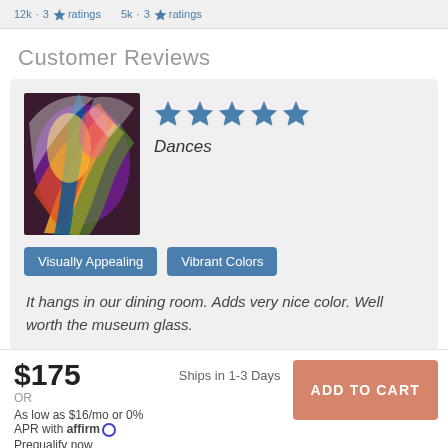12k · 3 ratings   5k · 3 ratings
Customer Reviews
[Figure (photo): Colorful abstract painting showing dancing figures with vibrant colors.]
Dances
Visually Appealing   Vibrant Colors
It hangs in our dining room. Adds very nice color. Well worth the museum glass.
$175
OR
Ships in 1-3 Days
As low as $16/mo or 0% APR with affirm Prequalify now
ADD TO CART